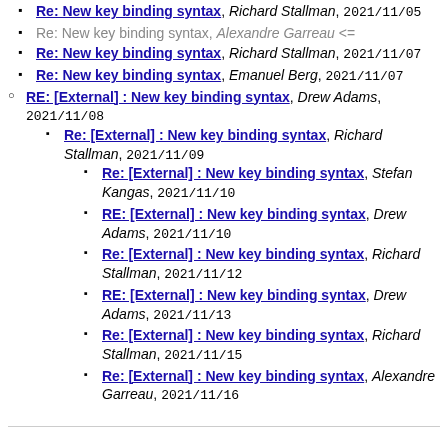Re: New key binding syntax, Richard Stallman, 2021/11/05
Re: New key binding syntax, Alexandre Garreau <=
Re: New key binding syntax, Richard Stallman, 2021/11/07
Re: New key binding syntax, Emanuel Berg, 2021/11/07
RE: [External] : New key binding syntax, Drew Adams, 2021/11/08
Re: [External] : New key binding syntax, Richard Stallman, 2021/11/09
Re: [External] : New key binding syntax, Stefan Kangas, 2021/11/10
RE: [External] : New key binding syntax, Drew Adams, 2021/11/10
Re: [External] : New key binding syntax, Richard Stallman, 2021/11/12
RE: [External] : New key binding syntax, Drew Adams, 2021/11/13
Re: [External] : New key binding syntax, Richard Stallman, 2021/11/15
Re: [External] : New key binding syntax, Alexandre Garreau, 2021/11/16